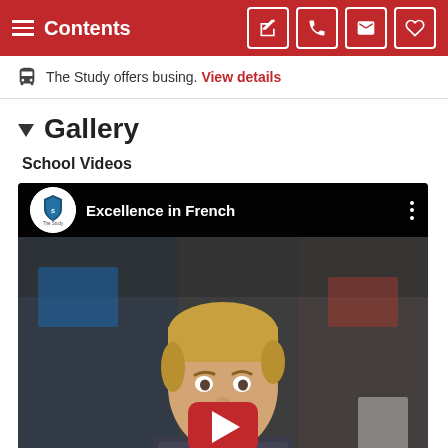Contents
The Study offers busing. View details
Gallery
School Videos
[Figure (screenshot): YouTube video thumbnail showing a student in school uniform with the title 'Excellence in French' and The Study channel logo. A red play button is overlaid in the center.]